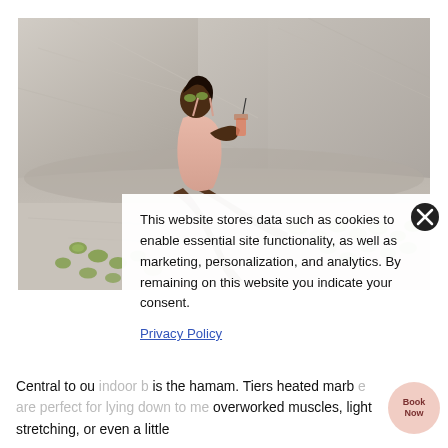[Figure (photo): A woman in a peach swimsuit reclines in a marble spa or hamam, holding a cocktail with cucumber slices on her eyes (as sunglasses), surrounded by sliced cucumbers on the marble surface.]
This website stores data such as cookies to enable essential site functionality, as well as marketing, personalization, and analytics. By remaining on this website you indicate your consent.
Privacy Policy
Central to ou  indoor b  is the hamam. Tiers  heated marb  e are perfect for lying down to me  overworked muscles, light stretching, or even a little